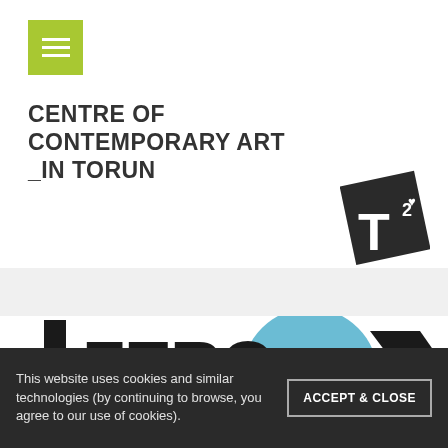[Figure (logo): Green hamburger menu button (lime green square with three white horizontal lines)]
CENTRE OF CONTEMPORARY ART _IN TORUN
[Figure (logo): Dark tilted square logo with white T and superscript 2 with heart symbol]
[Figure (illustration): ZERO exhibition banner with exclamation mark, bold ZERO text, blue circle, diagonal black stripe, and dotted pattern]
This website uses cookies and similar technologies (by continuing to browse, you agree to our use of cookies).
ACCEPT & CLOSE